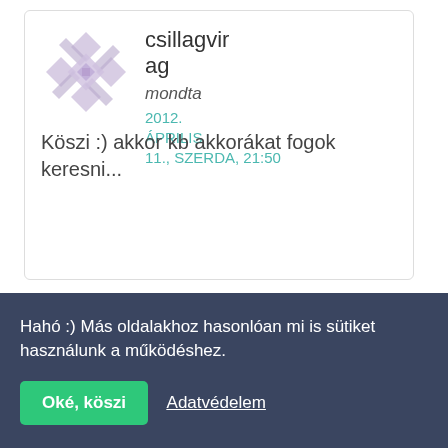[Figure (illustration): Decorative geometric/quilted pattern avatar in light purple/lavender color, diamond and square shapes arranged in a star/flower pattern]
csillagvirag
mondta
2012. ÁPRILIS 11., SZERDA, 21:50
Köszi :) akkor kb akkorákat fogok keresni...
Hahó :) Más oldalakhoz hasonlóan mi is sütiket használunk a működéshez.
Oké, köszi
Adatvédelem